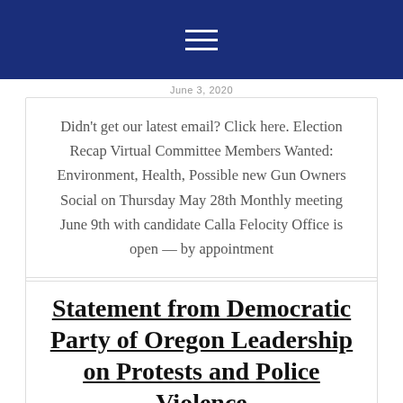June 3, 2020
Didn’t get our latest email? Click here. Election Recap Virtual Committee Members Wanted: Environment, Health, Possible new Gun Owners Social on Thursday May 28th Monthly meeting June 9th with candidate Calla Felocity Office is open — by appointment
Statement from Democratic Party of Oregon Leadership on Protests and Police Violence